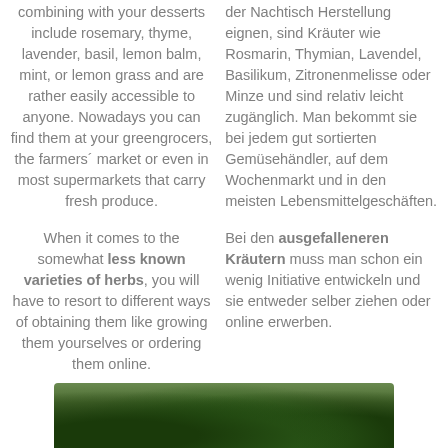combining with your desserts include rosemary, thyme, lavender, basil, lemon balm, mint, or lemon grass and are rather easily accessible to anyone. Nowadays you can find them at your greengrocers, the farmers´ market or even in most supermarkets that carry fresh produce.
der Nachtisch Herstellung eignen, sind Kräuter wie Rosmarin, Thymian, Lavendel, Basilikum, Zitronenmelisse oder Minze und sind relativ leicht zugänglich. Man bekommt sie bei jedem gut sortierten Gemüsehändler, auf dem Wochenmarkt und in den meisten Lebensmittelgeschäften.
When it comes to the somewhat less known varieties of herbs, you will have to resort to different ways of obtaining them like growing them yourselves or ordering them online.
Bei den ausgefalleneren Kräutern muss man schon ein wenig Initiative entwickeln und sie entweder selber ziehen oder online erwerben.
[Figure (photo): Bottom portion of a photograph showing green herbs or plants, partially visible at the bottom of the page.]